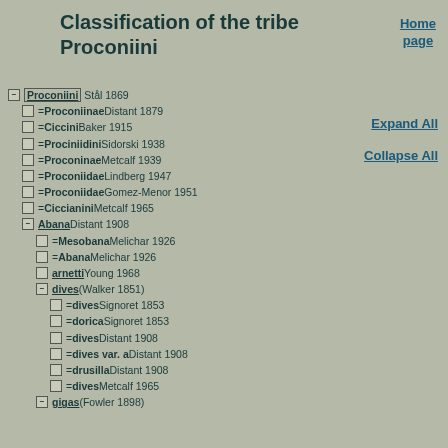Classification of the tribe Proconiini
Home page
Expand All
Collapse All
Proconiini Stål 1869
= Proconiinae Distant 1879
= Ciccini Baker 1915
= Prociniidini Sidorski 1938
= Proconinae Metcalf 1939
= Proconiidae Lindberg 1947
= Proconiidae Gomez-Menor 1951
= Ciccianini Metcalf 1965
Abana Distant 1908
= Mesobana Melichar 1926
= Abana Melichar 1926
arnetti Young 1968
dives (Walker 1851)
= dives Signoret 1853
= dorica Signoret 1853
= dives Distant 1908
= dives var. a Distant 1908
= drusilla Distant 1908
= dives Metcalf 1965
gigas (Fowler 1898)